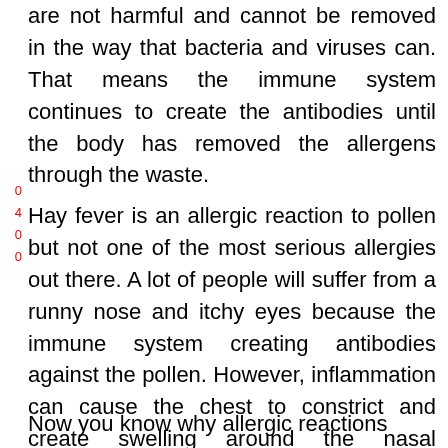are not harmful and cannot be removed in the way that bacteria and viruses can. That means the immune system continues to create the antibodies until the body has removed the allergens through the waste.
Hay fever is an allergic reaction to pollen but not one of the most serious allergies out there. A lot of people will suffer from a runny nose and itchy eyes because the immune system creating antibodies against the pollen. However, inflammation can cause the chest to constrict and create swelling around the nasal passages. It can be harder for people to breathe properly and cause some fluid build-up in the lungs.
Now you know why allergic reactions